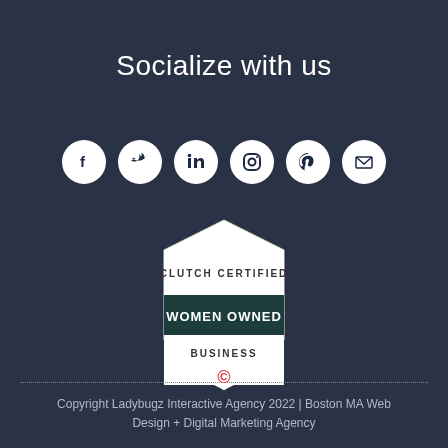Socialize with us
[Figure (illustration): Six social media icon circles (Facebook, Twitter, LinkedIn, Instagram, Pinterest, Email) arranged in a row on dark background]
[Figure (logo): Clutch Certified Women Owned Business badge — hexagonal shield shape with white and dark teal sections, text: CLUTCH CERTIFIED, WOMEN OWNED, BUSINESS, with Clutch logo C at bottom]
Copyright Ladybugz Interactive Agency 2022 | Boston MA Web Design + Digital Marketing Agency